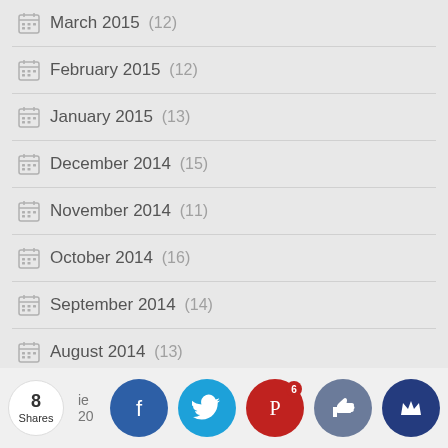March 2015 (12)
February 2015 (12)
January 2015 (13)
December 2014 (15)
November 2014 (11)
October 2014 (16)
September 2014 (14)
August 2014 (13)
July 2014 (12)